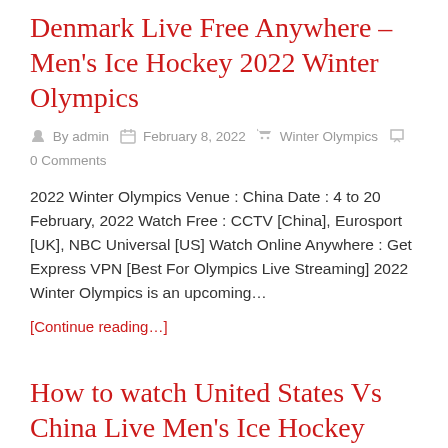Denmark Live Free Anywhere – Men's Ice Hockey 2022 Winter Olympics
By admin   February 8, 2022   Winter Olympics   0 Comments
2022 Winter Olympics Venue : China Date : 4 to 20 February, 2022 Watch Free : CCTV [China], Eurosport [UK], NBC Universal [US] Watch Online Anywhere : Get Express VPN [Best For Olympics Live Streaming] 2022 Winter Olympics is an upcoming...
[Continue reading...]
How to watch United States Vs China Live Men's Ice Hockey Match